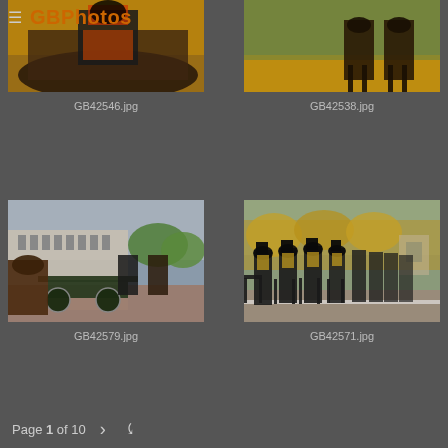GBPhotos
[Figure (photo): Close-up of a rider on horseback in ceremonial uniform with autumn foliage background]
GB42546.jpg
[Figure (photo): Horses walking with autumn leaves on ground]
GB42538.jpg
[Figure (photo): Horse-drawn artillery cannon in front of Buckingham Palace with riders in ceremonial uniform]
GB42579.jpg
[Figure (photo): Military riders on horseback in ceremonial uniform marching along The Mall with autumn trees and arch in background]
GB42571.jpg
Page 1 of 10